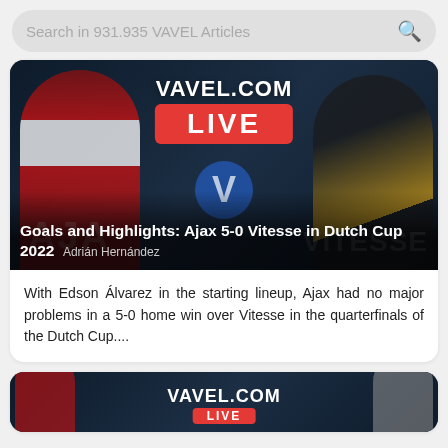Search in 931.935 VAVEL Articles
[Figure (photo): VAVEL.COM LIVE match image showing Ajax vs Vitesse players with overlay title: Goals and Highlights: Ajax 5-0 Vitesse in Dutch Cup 2022, author: Adrián Hernández]
With Edson Álvarez in the starting lineup, Ajax had no major problems in a 5-0 home win over Vitesse in the quarterfinals of the Dutch Cup....
[Figure (photo): Second VAVEL.COM LIVE article card partially visible at bottom of page]